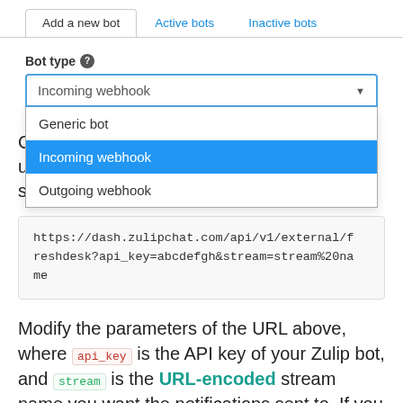[Figure (screenshot): Tab bar with 'Add a new bot' (active), 'Active bots', and 'Inactive bots' tabs, followed by a 'Bot type' dropdown open showing options: Generic bot, Incoming webhook (selected/highlighted in blue), Outgoing webhook]
Construct the URL for the Freshdesk bot using the bot's API key and the desired stream name:
https://dash.zulipchat.com/api/v1/external/freshdesk?api_key=abcdefgh&stream=stream%20name
Modify the parameters of the URL above, where api_key is the API key of your Zulip bot, and stream is the URL-encoded stream name you want the notifications sent to. If you do not